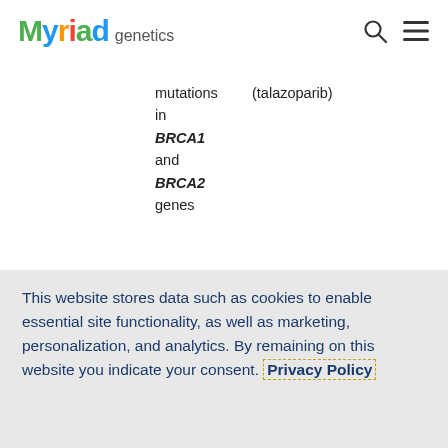Myriad genetics
mutations in BRCA1 and BRCA2 genes
(talazoparib)
[Figure (donut-chart): Partial semicircular donut chart showing approximately 55% blue (right side) and 45% light gray (left side), cropped at the bottom]
This website stores data such as cookies to enable essential site functionality, as well as marketing, personalization, and analytics. By remaining on this website you indicate your consent. Privacy Policy